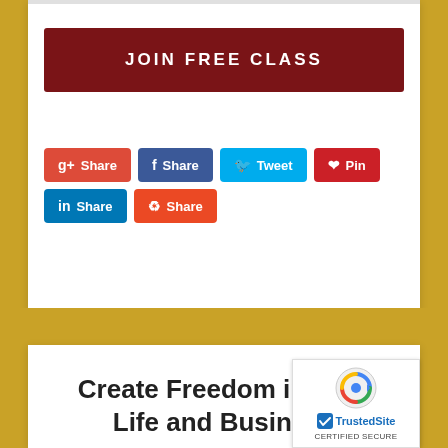[Figure (screenshot): Top white content card with a dark red 'JOIN FREE CLASS' button]
JOIN FREE CLASS
[Figure (infographic): Social sharing buttons: Google+ Share, Facebook Share, Twitter Tweet, Pinterest Pin, LinkedIn Share, StumbleUpon Share]
Create Freedom in Your Life and Business